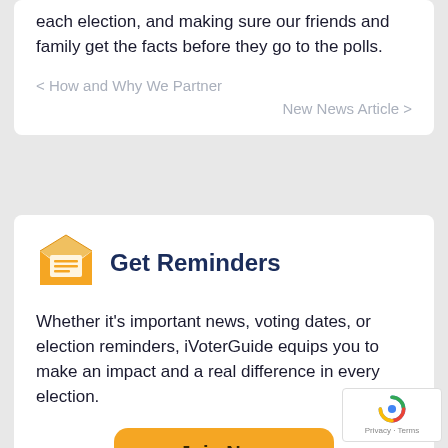each election, and making sure our friends and family get the facts before they go to the polls.
< How and Why We Partner
New News Article >
Get Reminders
Whether it's important news, voting dates, or election reminders, iVoterGuide equips you to make an impact and a real difference in every election.
Join Now